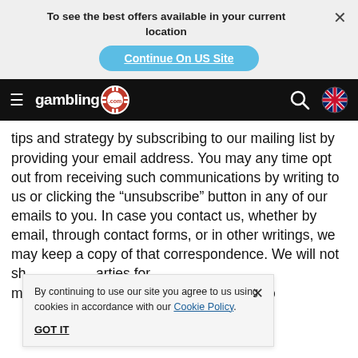To see the best offers available in your current location
Continue On US Site
gambling .com [navigation bar with hamburger menu, search, UK flag]
tips and strategy by subscribing to our mailing list by providing your email address. You may any time opt out from receiving such communications by writing to us or clicking the “unsubscribe” button in any of our emails to you. In case you contact us, whether by email, through contact forms, or in other writings, we may keep a copy of that correspondence. We will not sh[are your information with third-p]arties for m[arketing purposes unless you have ]provided us with yo[ur consent to do so.]
By continuing to use our site you agree to us using cookies in accordance with our Cookie Policy.
GOT IT